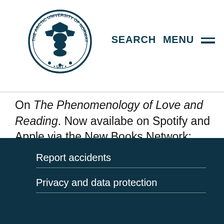The Arctic University of Norway — SEARCH MENU
On The Phenomenology of Love and Reading. Now availabe on Spotify and Apple via the New Books Network: https://newbooksnetwork.com/the-phenomenology-of-love-and-reading
Report accidents
Privacy and data protection